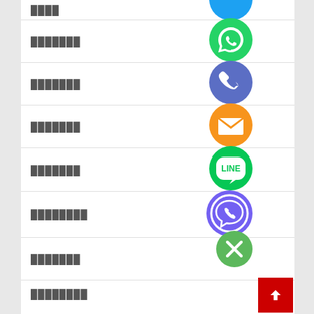████
[Figure (illustration): Blue circle icon (partially visible at top)]
███████
[Figure (illustration): Green WhatsApp icon circle]
███████
[Figure (illustration): Blue phone/call icon circle]
███████
[Figure (illustration): Orange email/envelope icon circle]
███████
[Figure (illustration): Green LINE messaging icon circle]
████████
[Figure (illustration): Purple Viber icon circle]
███████
[Figure (illustration): Green circle with X mark]
████████